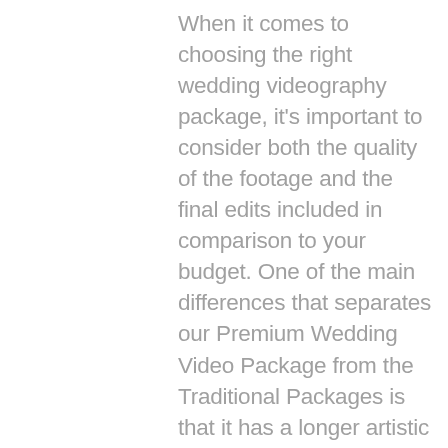When it comes to choosing the right wedding videography package, it's important to consider both the quality of the footage and the final edits included in comparison to your budget. One of the main differences that separates our Premium Wedding Video Package from the Traditional Packages is that it has a longer artistic edit: the Cinematic Main Feature. The Cinematic Main Feature is 8-20 minutes long as opposed to the 3-5 minute Highlight Film that comes with the Traditional packages. It is also a little more artistic in nature because the Premium package comes with two videographers (so there is more footage